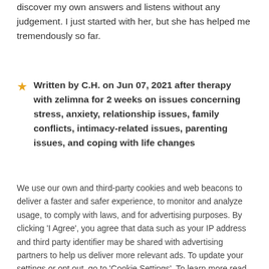discover my own answers and listens without any judgement. I just started with her, but she has helped me tremendously so far.
Written by C.H. on Jun 07, 2021 after therapy with zelimna for 2 weeks on issues concerning stress, anxiety, relationship issues, family conflicts, intimacy-related issues, parenting issues, and coping with life changes
We use our own and third-party cookies and web beacons to deliver a faster and safer experience, to monitor and analyze usage, to comply with laws, and for advertising purposes. By clicking 'I Agree', you agree that data such as your IP address and third party identifier may be shared with advertising partners to help us deliver more relevant ads. To update your settings or opt out, go to 'Cookie Settings'. To learn more read our Privacy Policy.
Cookie Settings | I Agree